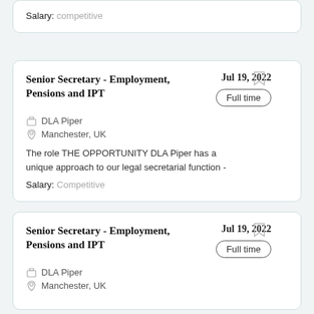Salary: competitive
Senior Secretary - Employment, Pensions and IPT
Jul 19, 2022
Full time
DLA Piper
Manchester, UK
The role THE OPPORTUNITY DLA Piper has a unique approach to our legal secretarial function -
Salary: Competitive
Senior Secretary - Employment, Pensions and IPT
Jul 19, 2022
Full time
DLA Piper
Manchester, UK